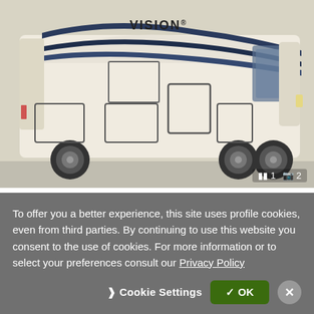[Figure (photo): Side profile illustration of a 2023 Entegra Coach Vision XL 34G Class A motorhome, cream/beige color with dark blue swooping graphic accents, showing exterior compartment doors and dual rear axle. Image counter shows 1 video and 2 photos.]
$189,998
2023 Entegra Coach Vision XL 34G
Colton RV - Wind Gap PA
Wind Gap, PA - 168 mi. away
✉ Email
📞 Call
To offer you a better experience, this site uses profile cookies, even from third parties. By continuing to use this website you consent to the use of cookies. For more information or to select your preferences consult our Privacy Policy
Cookie Settings
✓ OK